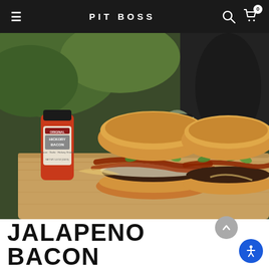PIT BOSS
[Figure (photo): Two large bacon cheeseburgers topped with jalapeños, crispy onions, and melted cheese, served on a wooden cutting board alongside a bottle of Pit Boss Original Hickory Bacon seasoning, with a grill visible in the background.]
JALAPENO BACON